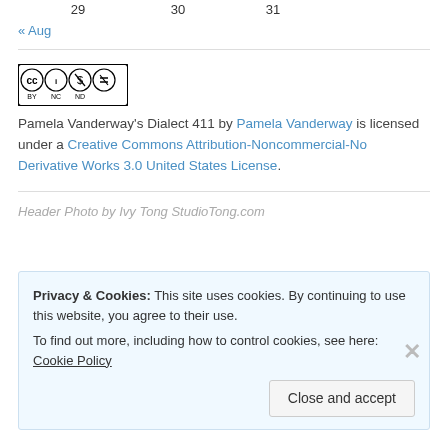29    30    31
« Aug
[Figure (logo): Creative Commons BY-NC-ND license badge with four circular icons]
Pamela Vanderway's Dialect 411 by Pamela Vanderway is licensed under a Creative Commons Attribution-Noncommercial-No Derivative Works 3.0 United States License.
Header Photo by Ivy Tong StudioTong.com
Privacy & Cookies: This site uses cookies. By continuing to use this website, you agree to their use. To find out more, including how to control cookies, see here: Cookie Policy